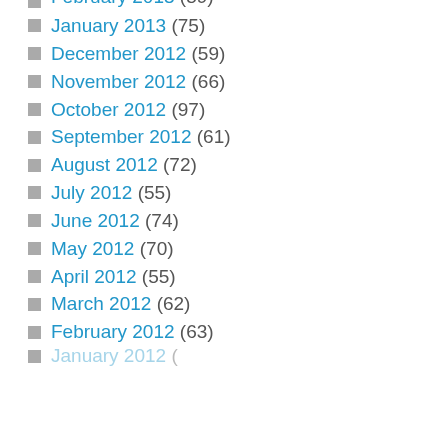February 2013 (59) [partial, top cut off]
January 2013 (75)
December 2012 (59)
November 2012 (66)
October 2012 (97)
September 2012 (61)
August 2012 (72)
July 2012 (55)
June 2012 (74)
May 2012 (70)
April 2012 (55)
March 2012 (62)
February 2012 (63)
January 2012 (... partial, bottom cut off)